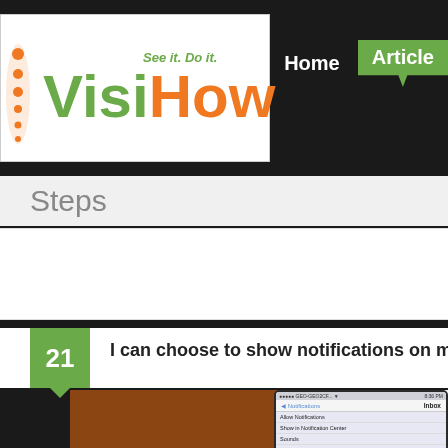[Figure (logo): VisiHow logo with tagline 'See it. Do it.' in green and orange colors]
Home  Article
Steps
21  I can choose to show notifications on my lock scr
[Figure (screenshot): iPhone screen showing Notifications settings page with options: Allow Notifications, Show in Notification Center, Sounds, Badge App Icon]